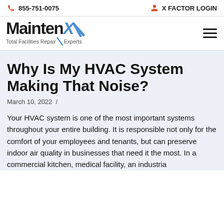855-751-0075   X FACTOR LOGIN
[Figure (logo): MaintenX logo with blue X and checkmark, tagline: Total Facilities Repair Experts]
Why Is My HVAC System Making That Noise?
March 10, 2022 /
Your HVAC system is one of the most important systems throughout your entire building. It is responsible not only for the comfort of your employees and tenants, but can preserve indoor air quality in businesses that need it the most. In a commercial kitchen, medical facility, an industria...